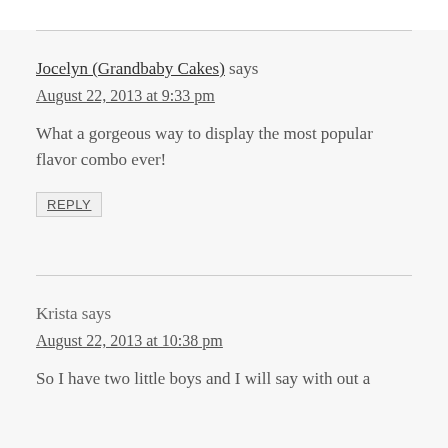Jocelyn (Grandbaby Cakes) says
August 22, 2013 at 9:33 pm
What a gorgeous way to display the most popular flavor combo ever!
REPLY
Krista says
August 22, 2013 at 10:38 pm
So I have two little boys and I will say with out a